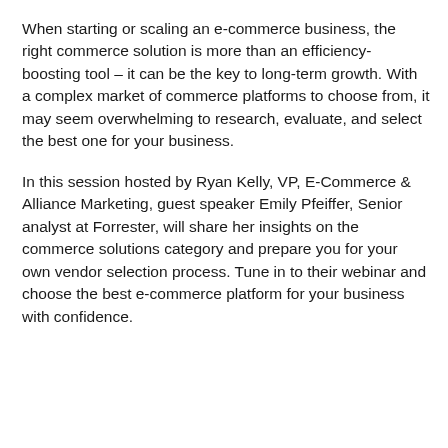When starting or scaling an e-commerce business, the right commerce solution is more than an efficiency-boosting tool – it can be the key to long-term growth. With a complex market of commerce platforms to choose from, it may seem overwhelming to research, evaluate, and select the best one for your business.
In this session hosted by Ryan Kelly, VP, E-Commerce & Alliance Marketing, guest speaker Emily Pfeiffer, Senior analyst at Forrester, will share her insights on the commerce solutions category and prepare you for your own vendor selection process. Tune in to their webinar and choose the best e-commerce platform for your business with confidence.